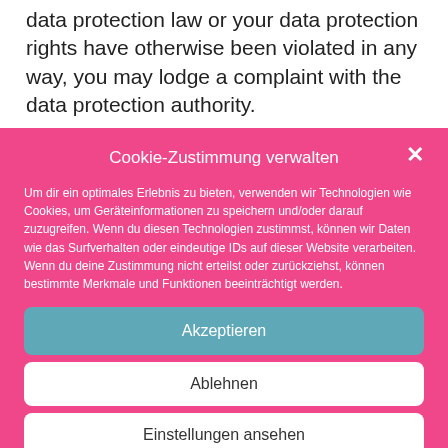data protection law or your data protection rights have otherwise been violated in any way, you may lodge a complaint with the data protection authority.
Cookie-Zustimmung verwalten
Um dir ein optimales Erlebnis zu bieten, verwenden wir Technologien wie Cookies, um Geräteinformationen zu speichern und/oder darauf zuzugreifen. Wenn du diesen Technologien zustimmst, können wir Daten wie das Surfverhalten oder eindeutige IDs auf dieser Website verarbeiten. Wenn du deine Zustimmung nicht erteilst oder zurückziehst, können bestimmte Merkmale und Funktionen beeinträchtigt werden.
Akzeptieren
Ablehnen
Einstellungen ansehen
Mobilitätserhebung – Datenschutz   Imprint